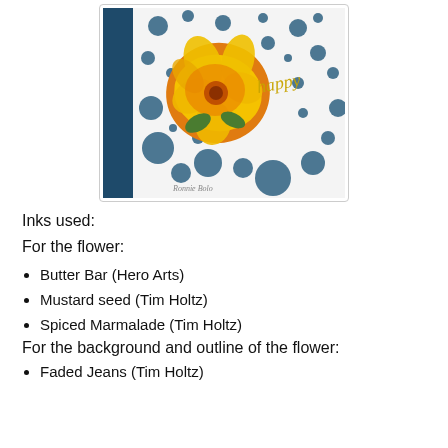[Figure (photo): Handmade greeting card showing a large orange and yellow flower with blue polka dot background pattern and a gold 'happy' embellishment. The card is set against a dark blue envelope background. Photo credited to Ronnie Bolo.]
Inks used:
For the flower:
Butter Bar (Hero Arts)
Mustard seed (Tim Holtz)
Spiced Marmalade (Tim Holtz)
For the background and outline of the flower:
Faded Jeans (Tim Holtz)